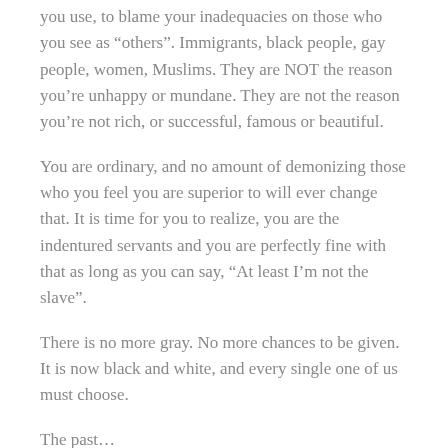you use, to blame your inadequacies on those who you see as “others”. Immigrants, black people, gay people, women, Muslims. They are NOT the reason you’re unhappy or mundane. They are not the reason you’re not rich, or successful, famous or beautiful.
You are ordinary, and no amount of demonizing those who you feel you are superior to will ever change that. It is time for you to realize, you are the indentured servants and you are perfectly fine with that as long as you can say, “At least I’m not the slave”.
There is no more gray. No more chances to be given. It is now black and white, and every single one of us must choose.
The past…